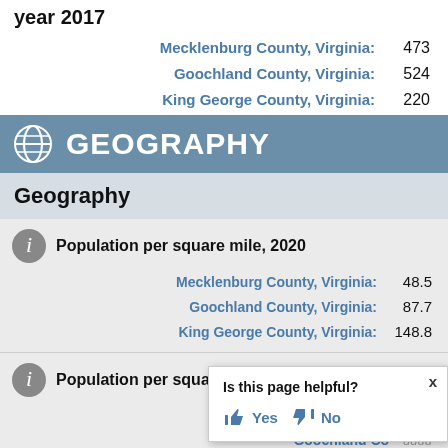year 2017
Mecklenburg County, Virginia: 473
Goochland County, Virginia: 524
King George County, Virginia: 220
GEOGRAPHY
Geography
Population per square mile, 2020
Mecklenburg County, Virginia: 48.5
Goochland County, Virginia: 87.7
King George County, Virginia: 148.8
Population per square mile, 2010
Mecklenburg County, Virginia:
Goochland County, Virginia: